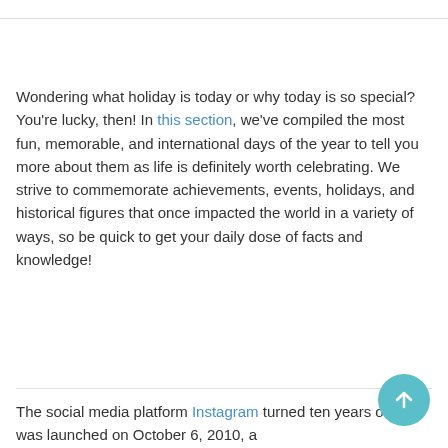Wondering what holiday is today or why today is so special? You're lucky, then! In this section, we've compiled the most fun, memorable, and international days of the year to tell you more about them as life is definitely worth celebrating. We strive to commemorate achievements, events, holidays, and historical figures that once impacted the world in a variety of ways, so be quick to get your daily dose of facts and knowledge!
The social media platform Instagram turned ten years old! It was launched on October 6, 2010, a...